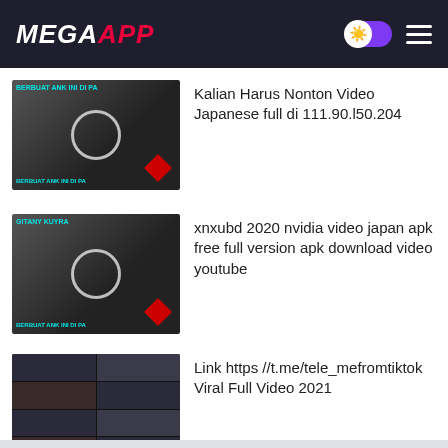MEGAAPP
Kalian Harus Nonton Video Japanese full di 111.90.l50.204
xnxubd 2020 nvidia video japan apk free full version apk download video youtube
Link https //t.me/tele_mefromtiktok Viral Full Video 2021
Download ZOOM for PC atau Windows